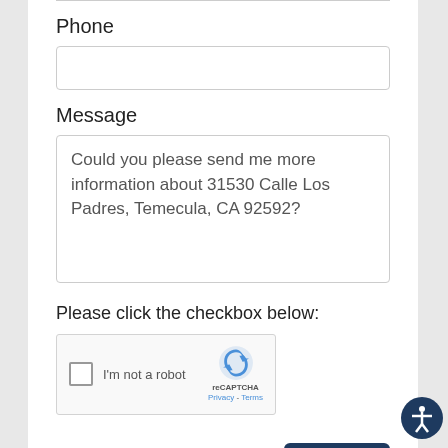Phone
Message
Could you please send me more information about 31530 Calle Los Padres, Temecula, CA 92592?
Please click the checkbox below:
[Figure (other): reCAPTCHA widget with checkbox labeled 'I'm not a robot' and Google reCAPTCHA logo with Privacy and Terms links]
Send